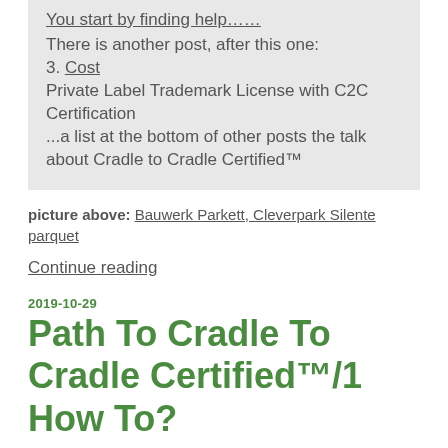You start by finding help......
There is another post, after this one:
3. Cost
Private Label Trademark License with C2C Certification
...a list at the bottom of other posts the talk about Cradle to Cradle Certified™
picture above: Bauwerk Parkett, Cleverpark Silente parquet
Continue reading
2019-10-29
Path To Cradle To Cradle Certified™/1 How To?